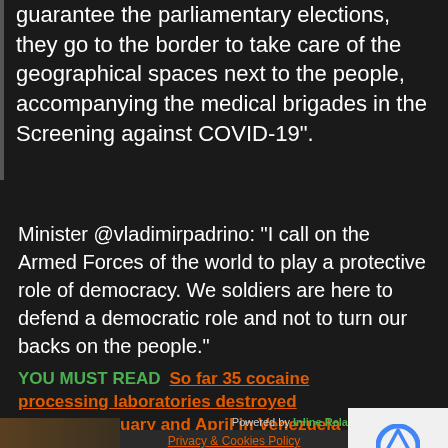guarantee the parliamentary elections, they go to the border to take care of the geographical spaces next to the people, accompanying the medical brigades in the Screening against COVID-19".
Minister @vladimirpadrino: "I call on the Armed Forces of the world to play a protective role of democracy. We soldiers are here to defend a democratic role and not to turn our backs on the people."
YOU MUST READ  So far 35 cocaine processing laboratories destroyed between January and April in Venezuela
Powered by Inline Rela
Privacy & Cookies Policy